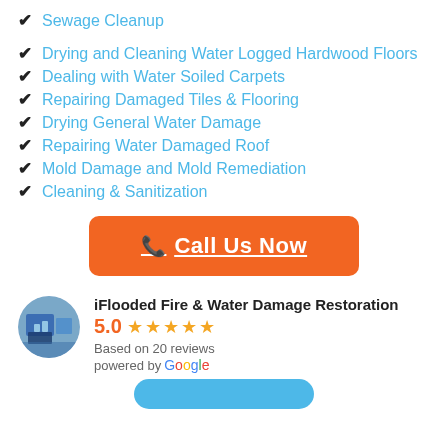Sewage Cleanup
Drying and Cleaning Water Logged Hardwood Floors
Dealing with Water Soiled Carpets
Repairing Damaged Tiles & Flooring
Drying General Water Damage
Repairing Water Damaged Roof
Mold Damage and Mold Remediation
Cleaning & Sanitization
Call Us Now
iFlooded Fire & Water Damage Restoration
5.0 ★★★★★
Based on 20 reviews
powered by Google